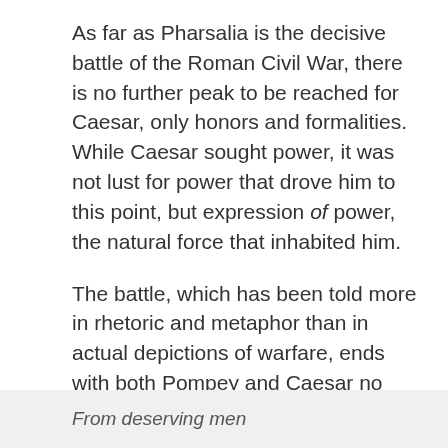As far as Pharsalia is the decisive battle of the Roman Civil War, there is no further peak to be reached for Caesar, only honors and formalities. While Caesar sought power, it was not lust for power that drove him to this point, but expression of power, the natural force that inhabited him.
The battle, which has been told more in rhetoric and metaphor than in actual depictions of warfare, ends with both Pompey and Caesar no longer embodying legions within them (Pompey half-heartedly), but reduced to the size of the human. For Pompey this is not a tremendous adjustment, but for Caesar it is. Victory and loss is handed out: these are not forces but conditions, and now Caesar is set upon by nightmares, of all things.
From deserving men